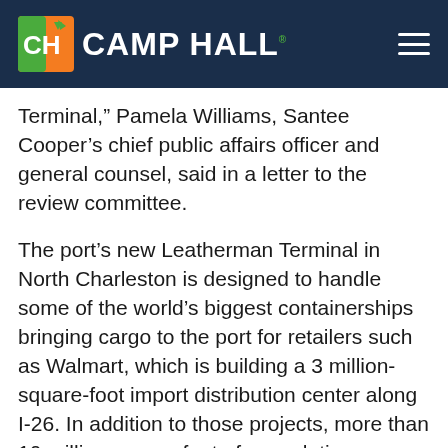CAMP HALL.
Terminal,” Pamela Williams, Santee Cooper’s chief public affairs officer and general counsel, said in a letter to the review committee.
The port’s new Leatherman Terminal in North Charleston is designed to handle some of the world’s biggest containerships bringing cargo to the port for retailers such as Walmart, which is building a 3 million-square-foot import distribution center along I-26. In addition to those projects, more than 10 million square feet of speculative industrial space — meaning no tenants have been secured yet — is being built along the